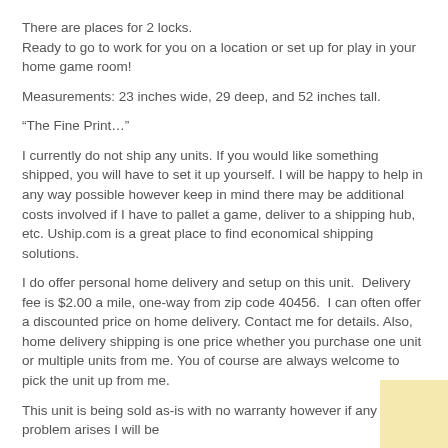There are places for 2 locks.
Ready to go to work for you on a location or set up for play in your home game room!
Measurements: 23 inches wide, 29 deep, and 52 inches tall.
“The Fine Print…”
I currently do not ship any units. If you would like something shipped, you will have to set it up yourself. I will be happy to help in any way possible however keep in mind there may be additional costs involved if I have to pallet a game, deliver to a shipping hub, etc. Uship.com is a great place to find economical shipping solutions.
I do offer personal home delivery and setup on this unit.  Delivery fee is $2.00 a mile, one-way from zip code 40456.  I can often offer a discounted price on home delivery. Contact me for details. Also, home delivery shipping is one price whether you purchase one unit or multiple units from me. You of course are always welcome to pick the unit up from me.
This unit is being sold as-is with no warranty however if any problem arises I will be